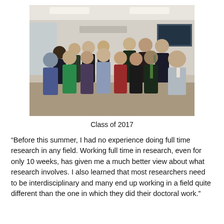[Figure (photo): Group photo of approximately 18 people standing together in an office or conference room setting, labeled as Class of 2017.]
Class of 2017
“Before this summer, I had no experience doing full time research in any field. Working full time in research, even for only 10 weeks, has given me a much better view about what research involves. I also learned that most researchers need to be interdisciplinary and many end up working in a field quite different than the one in which they did their doctoral work.”